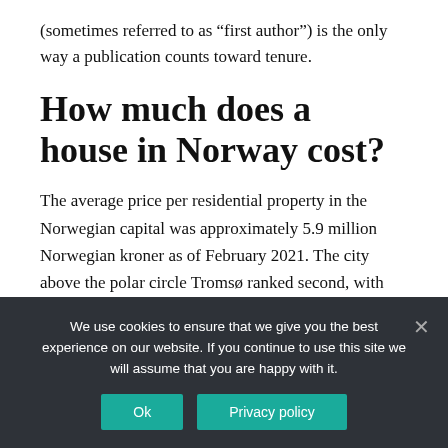(sometimes referred to as "first author") is the only way a publication counts toward tenure.
How much does a house in Norway cost?
The average price per residential property in the Norwegian capital was approximately 5.9 million Norwegian kroner as of February 2021. The city above the polar circle Tromsø ranked second, with housing units costing on average nearly 4.2 million Norwegian kroner.
We use cookies to ensure that we give you the best experience on our website. If you continue to use this site we will assume that you are happy with it.